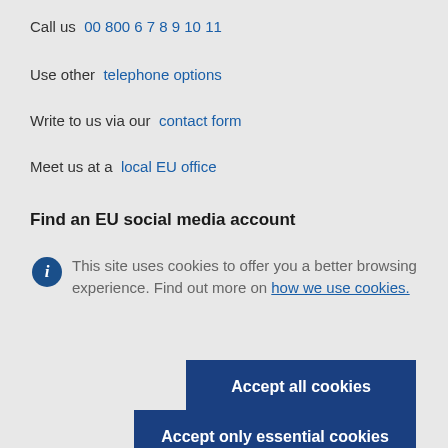Call us  00 800 6 7 8 9 10 11
Use other  telephone options
Write to us via our  contact form
Meet us at a  local EU office
Find an EU social media account
This site uses cookies to offer you a better browsing experience. Find out more on how we use cookies.
Accept all cookies
Accept only essential cookies